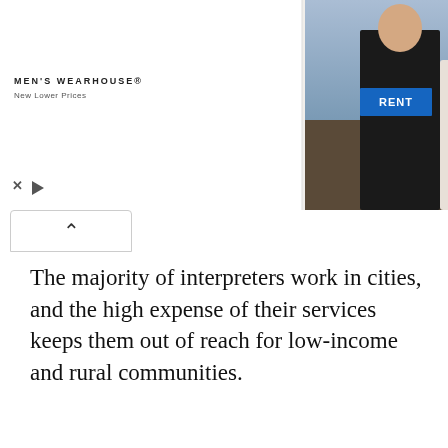[Figure (advertisement): Men's Wearhouse advertisement banner showing a wedding couple in formal wear on the left, a man in a suit on the right, with a blue RENT button, and Men's Wearhouse logo with 'New Lower Prices' tagline.]
The majority of interpreters work in cities, and the high expense of their services keeps them out of reach for low-income and rural communities.
The software aims to bridge this gap. It's a type of mobile taxi service